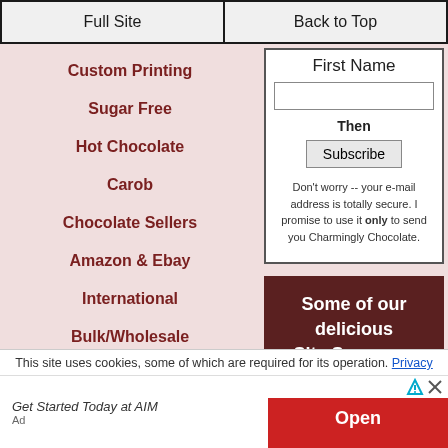Full Site | Back to Top
Custom Printing
Sugar Free
Hot Chocolate
Carob
Chocolate Sellers
Amazon & Ebay
International
Bulk/Wholesale
Candy Fundraisers
Chocolate Facts
Storing Candy
First Name
Then
Subscribe
Don't worry -- your e-mail address is totally secure. I promise to use it only to send you Charmingly Chocolate.
Some of our delicious Site Sponsors
[Figure (photo): Close-up photo of dark chocolate pieces in a wooden box]
This site uses cookies, some of which are required for its operation. Privacy
Get Started Today at AIM
Open
Ad